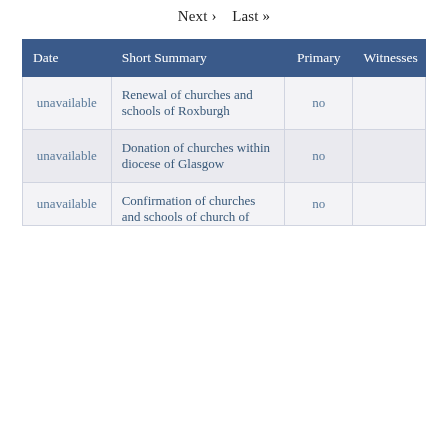Next >    Last >>
| Date | Short Summary | Primary | Witnesses |
| --- | --- | --- | --- |
| unavailable | Renewal of churches and schools of Roxburgh | no |  |
| unavailable | Donation of churches within diocese of Glasgow | no |  |
| unavailable | Confirmation of churches and schools of church of | no |  |